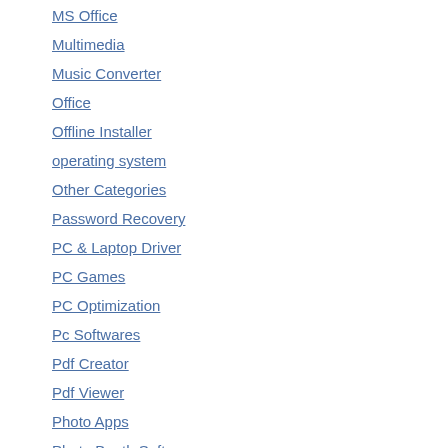MS Office
Multimedia
Music Converter
Office
Offline Installer
operating system
Other Categories
Password Recovery
PC & Laptop Driver
PC Games
PC Optimization
Pc Softwares
Pdf Creator
Pdf Viewer
Photo Apps
Photo Booth Software
Photo Editor
Photoshope Plugins
Portable Apps